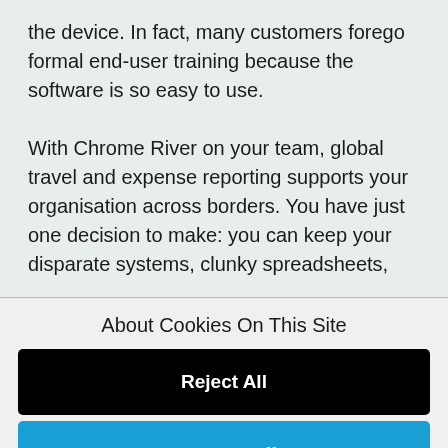the device. In fact, many customers forego formal end-user training because the software is so easy to use.

With Chrome River on your team, global travel and expense reporting supports your organisation across borders. You have just one decision to make: you can keep your disparate systems, clunky spreadsheets,
About Cookies On This Site
Reject All
Accept All